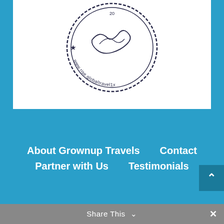[Figure (illustration): A circular travel stamp/seal with a signature and text reading www.rise.globaltravel1x around the edge, with a star and decorative border]
About Grownup Travels
Contact
Partner with Us
Testimonials
Share This ∨